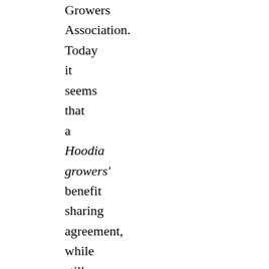Growers Association. Today it seems that a Hoodia growers' benefit sharing agreement, while still bringing relatively modest benefits. might potentially be more lucrative than the initial benefit sharing agreement.